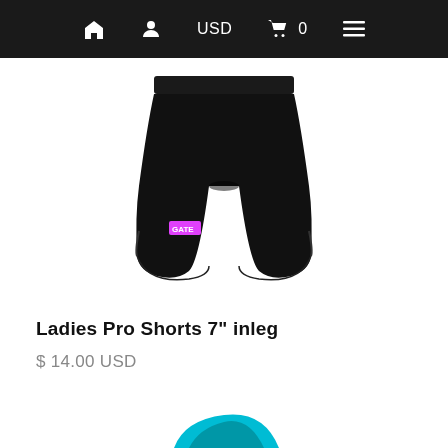USD  0
[Figure (photo): Black ladies pro shorts with pink logo label on left leg, displayed flat on white background]
Ladies Pro Shorts 7" inleg
$ 14.00 USD
[Figure (photo): Partial view of a teal/blue product at the bottom of the page]